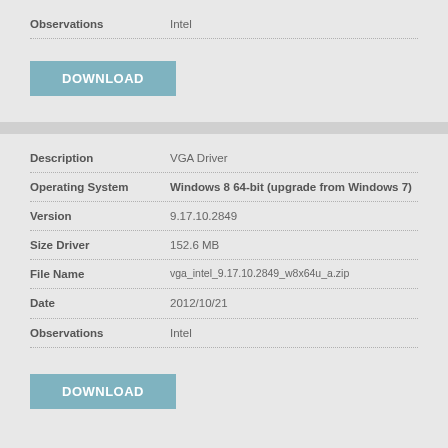| Field | Value |
| --- | --- |
| Observations | Intel |
DOWNLOAD
| Field | Value |
| --- | --- |
| Description | VGA Driver |
| Operating System | Windows 8 64-bit (upgrade from Windows 7) |
| Version | 9.17.10.2849 |
| Size Driver | 152.6 MB |
| File Name | vga_intel_9.17.10.2849_w8x64u_a.zip |
| Date | 2012/10/21 |
| Observations | Intel |
DOWNLOAD